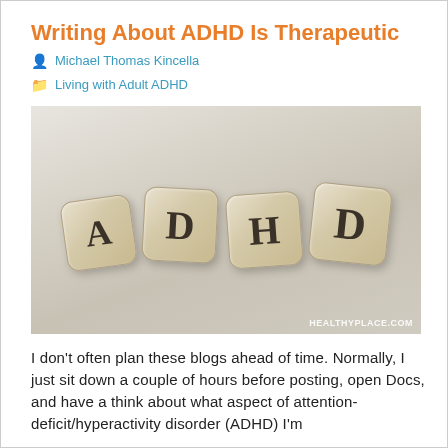Writing About ADHD Is Therapeutic
Michael Thomas Kincella
Living with Adult ADHD
[Figure (photo): Four wooden letter dice spelling out A, D, H, D on a light grey background, with a HEALTHYPLACE.COM watermark in the bottom right corner.]
I don't often plan these blogs ahead of time. Normally, I just sit down a couple of hours before posting, open Docs, and have a think about what aspect of attention-deficit/hyperactivity disorder (ADHD) I'm